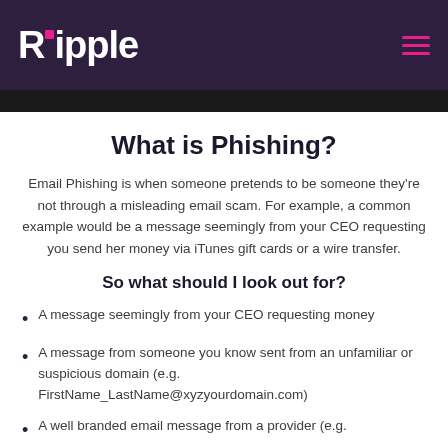Ripple
What is Phishing?
Email Phishing is when someone pretends to be someone they're not through a misleading email scam. For example, a common example would be a message seemingly from your CEO requesting you send her money via iTunes gift cards or a wire transfer.
So what should I look out for?
A message seemingly from your CEO requesting money
A message from someone you know sent from an unfamiliar or suspicious domain (e.g. FirstName_LastName@xyzyourdomain.com)
A well branded email message from a provider (e.g.